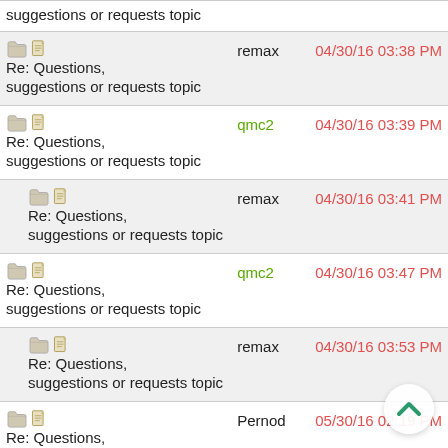suggestions or requests topic
Re: Questions, suggestions or requests topic | remax | 04/30/16 03:38 PM
Re: Questions, suggestions or requests topic | qmc2 | 04/30/16 03:39 PM
Re: Questions, suggestions or requests topic | remax | 04/30/16 03:41 PM
Re: Questions, suggestions or requests topic | qmc2 | 04/30/16 03:47 PM
Re: Questions, suggestions or requests topic | remax | 04/30/16 03:53 PM
Re: Questions, suggestions or requests topic | Pernod | 05/30/16 02:19 PM
Re: Questions, suggestions or requests topic | qmc2 | 05/31/16 06:53 AM
Re: Questions, suggestions or requests topic | Shideravan | 06/01/16 06:53 AM
Re: Questions, suggestions or requests topic | qmc2 | 06/01/16 07:11 AM